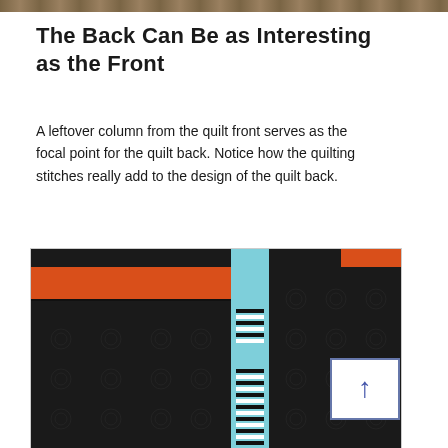[Figure (photo): Top edge of a quilt photo, partially cropped, showing dark fabric with pattern.]
The Back Can Be as Interesting as the Front
A leftover column from the quilt front serves as the focal point for the quilt back. Notice how the quilting stitches really add to the design of the quilt back.
[Figure (photo): Photo of a quilt back featuring dark patterned fabric with a vertical cyan/light blue strip in the center containing black and white striped blocks, horizontal orange/red strip across the top, small orange rectangle in the upper right corner, and a blue-outlined arrow box on the right side pointing upward.]